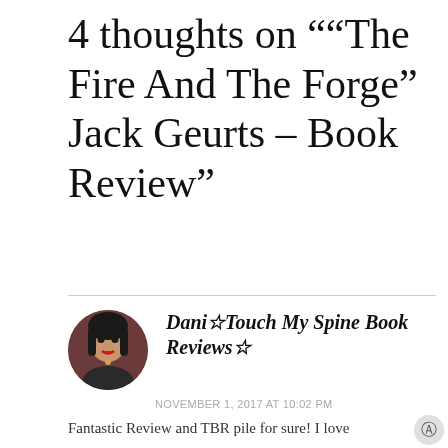4 thoughts on "“The Fire And The Forge” Jack Geurts – Book Review”
[Figure (photo): Circular avatar photo of a woman with dark hair and red lipstick]
Dani☆Touch My Spine Book Reviews☆
NOVEMBER 1, 2017 AT 10:02 PM
Fantastic Review and TBR pile for sure! I love
Advertisements
[Figure (screenshot): WordPress advertisement banner: 'Create immersive stories. GET THE APP' with WordPress logo]